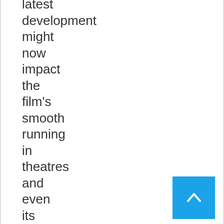latest development might now impact the film's smooth running in theatres and even its box office collection.
[Figure (other): Blue scroll-to-top button with a white upward-pointing chevron arrow]